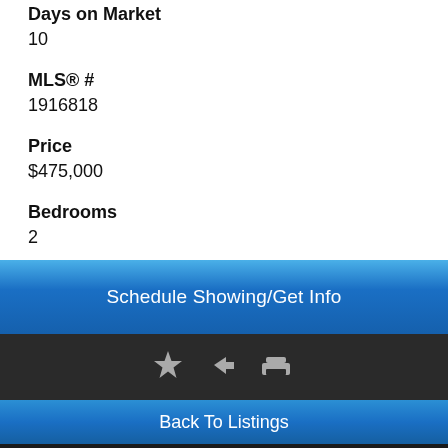Days on Market
10
MLS® #
1916818
Price
$475,000
Bedrooms
2
Bathrooms
Schedule Showing/Get Info
[Figure (infographic): Icon bar with star, share, and print icons on dark background]
Back To Listings